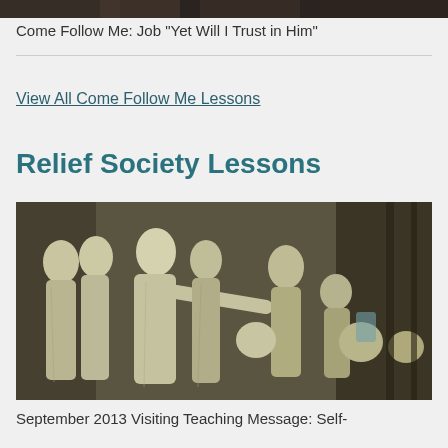[Figure (photo): Cropped top portion of an image, showing dark figures at the top edge of the page]
Come Follow Me: Job “Yet Will I Trust in Him”
View All Come Follow Me Lessons
Relief Society Lessons
[Figure (illustration): Classical artwork showing robed figures, one woman pointing dramatically while others react, painted in muted greens and yellows, resembling William Blake style artwork]
September 2013 Visiting Teaching Message: Self-